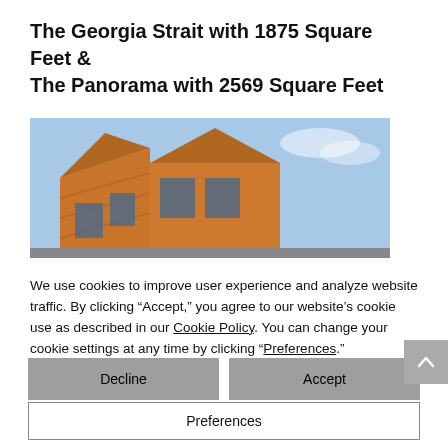The Georgia Strait with 1875 Square Feet & The Panorama with 2569 Square Feet
[Figure (photo): Upward angle photo of a modern wood-clad building with angular roofline against a blue sky]
We use cookies to improve user experience and analyze website traffic. By clicking “Accept,” you agree to our website’s cookie use as described in our Cookie Policy. You can change your cookie settings at any time by clicking “Preferences.”
Decline
Accept
Preferences